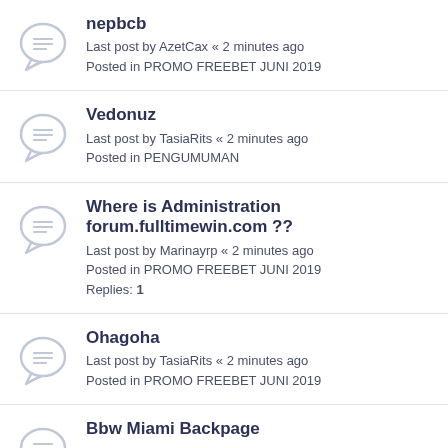nepbcb
Last post by AzetCax « 2 minutes ago
Posted in PROMO FREEBET JUNI 2019
Vedonuz
Last post by TasiaRits « 2 minutes ago
Posted in PENGUMUMAN
Where is Administration forum.fulltimewin.com ??
Last post by Marinayrp « 2 minutes ago
Posted in PROMO FREEBET JUNI 2019
Replies: 1
Ohagoha
Last post by TasiaRits « 2 minutes ago
Posted in PROMO FREEBET JUNI 2019
Bbw Miami Backpage
Last post by gotutop « 3 minutes ago